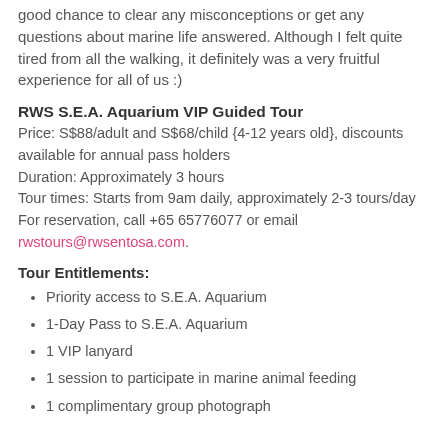good chance to clear any misconceptions or get any questions about marine life answered. Although I felt quite tired from all the walking, it definitely was a very fruitful experience for all of us :)
RWS S.E.A. Aquarium VIP Guided Tour
Price: S$88/adult and S$68/child {4-12 years old}, discounts available for annual pass holders
Duration: Approximately 3 hours
Tour times: Starts from 9am daily, approximately 2-3 tours/day
For reservation, call +65 65776077 or email rwstours@rwsentosa.com.
Tour Entitlements:
Priority access to S.E.A. Aquarium
1-Day Pass to S.E.A. Aquarium
1 VIP lanyard
1 session to participate in marine animal feeding
1 complimentary group photograph